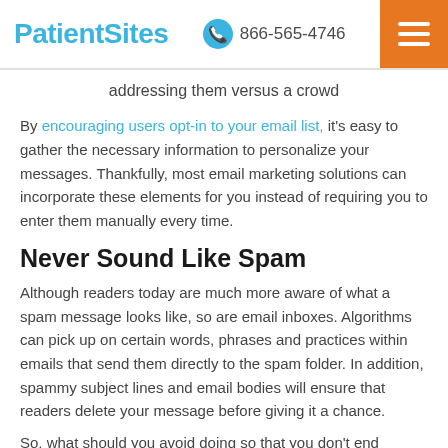PatientSites | 866-565-4746
addressing them versus a crowd
By encouraging users opt-in to your email list, it's easy to gather the necessary information to personalize your messages. Thankfully, most email marketing solutions can incorporate these elements for you instead of requiring you to enter them manually every time.
Never Sound Like Spam
Although readers today are much more aware of what a spam message looks like, so are email inboxes. Algorithms can pick up on certain words, phrases and practices within emails that send them directly to the spam folder. In addition, spammy subject lines and email bodies will ensure that readers delete your message before giving it a chance.
So, what should you avoid doing so that you don't end